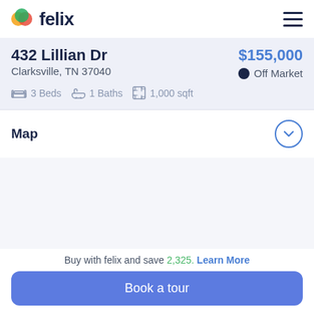felix
432 Lillian Dr
Clarksville, TN 37040
$155,000 • Off Market
3 Beds  1 Baths  1,000 sqft
Map
[Figure (map): Blank map placeholder area for 432 Lillian Dr, Clarksville, TN 37040]
Buy with felix and save 2,325. Learn More
Book a tour